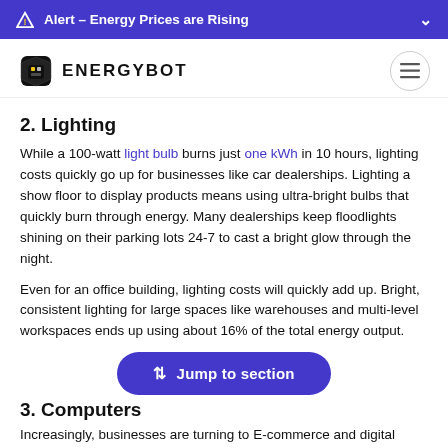Alert - Energy Prices are Rising
[Figure (logo): Energybot logo with shield icon and bold text ENERGYBOT]
2. Lighting
While a 100-watt light bulb burns just one kWh in 10 hours, lighting costs quickly go up for businesses like car dealerships. Lighting a show floor to display products means using ultra-bright bulbs that quickly burn through energy. Many dealerships keep floodlights shining on their parking lots 24-7 to cast a bright glow through the night.
Even for an office building, lighting costs will quickly add up. Bright, consistent lighting for large spaces like warehouses and multi-level workspaces ends up using about 16% of the total energy output.
3. Computers
Increasingly, businesses are turning to E-commerce and digital